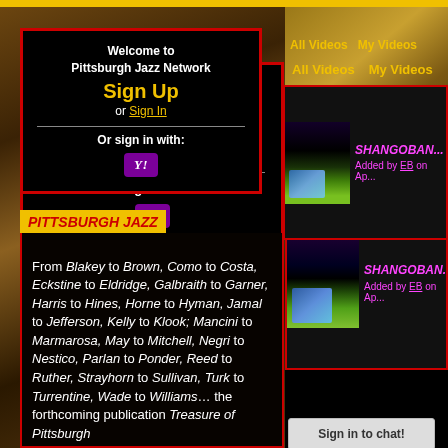[Figure (screenshot): Pittsburgh Jazz Network website screenshot showing login/signup box on left, video navigation on right, Pittsburgh Jazz section below left, and Sign in to chat button bottom right.]
Welcome to Pittsburgh Jazz Network
Sign Up
or Sign In
Or sign in with:
All Videos  My Videos
SHANGOBAN
Added by EB on Ap...
PITTSBURGH JAZZ
From Blakey to Brown, Como to Costa, Eckstine to Eldridge, Galbraith to Garner, Harris to Hines, Horne to Hyman, Jamal to Jefferson, Kelly to Klook; Mancini to Marmarosa, May to Mitchell, Negri to Nestico, Parlan to Ponder, Reed to Ruther, Strayhorn to Sullivan, Turk to Turrentine, Wade to Williams... the forthcoming publication Treasure of Pittsburgh
Sign in to chat!